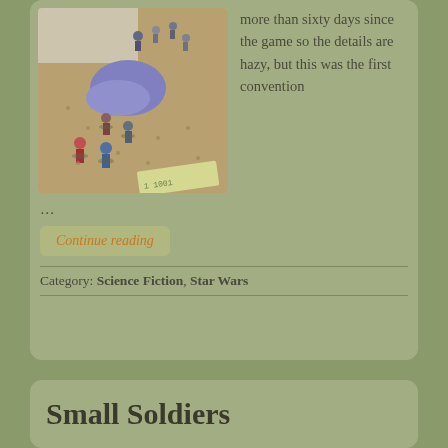[Figure (photo): Tabletop miniature wargame scene with a large purple creature and several small painted figurines on a sandy game board, with terrain and a money card visible.]
more than sixty days since the game so the details are hazy, but this was the first convention
…
Continue reading
Category: Science Fiction, Star Wars
Small Soldiers